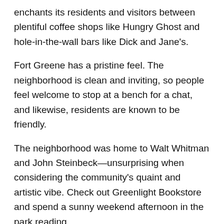enchants its residents and visitors between plentiful coffee shops like Hungry Ghost and hole-in-the-wall bars like Dick and Jane's.
Fort Greene has a pristine feel. The neighborhood is clean and inviting, so people feel welcome to stop at a bench for a chat, and likewise, residents are known to be friendly.
The neighborhood was home to Walt Whitman and John Steinbeck—unsurprising when considering the community's quaint and artistic vibe. Check out Greenlight Bookstore and spend a sunny weekend afternoon in the park reading.
Why Rent Office Space in Fort Greene, Brooklyn?
Fort Greene is known among Brooklyn neighborhoods for having top-tier food. For those grabbing something quick during lunch, check out Habana Outpost, known for its outstanding Cuban sandwiches. With fine Italian staples